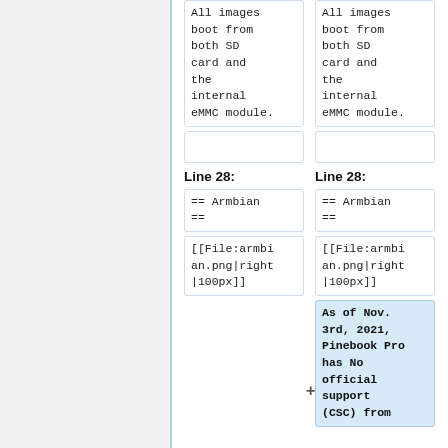| Left | Right |
| --- | --- |
| All images
boot from
both SD
card and
the
internal
eMMC module. | All images
boot from
both SD
card and
the
internal
eMMC module. |
| (empty) | (empty) |
| Line 28: | Line 28: |
| == Armbian
== | == Armbian
== |
| [[File:armbi
an.png|right
|100px]] | [[File:armbi
an.png|right
|100px]] |
|  | As of Nov.
3rd, 2021,
Pinebook Pro
has No
official
support
(CSC) from |